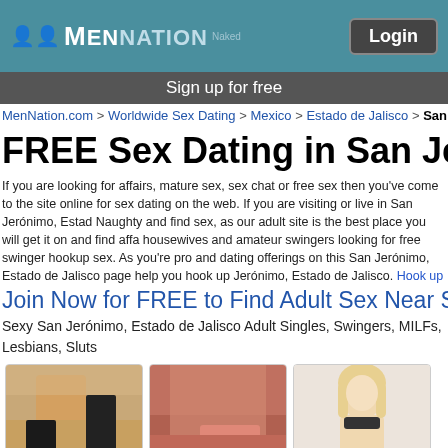MenNation Login
Sign up for free
MenNation.com > Worldwide Sex Dating > Mexico > Estado de Jalisco > San J
FREE Sex Dating in San Jeróni
If you are looking for affairs, mature sex, sex chat or free sex then you've come to the site online for sex dating on the web. If you are visiting or live in San Jerónimo, Esta Naughty and find sex, as our adult site is the best place you will get it on and find aff housewives and amateur swingers looking for free swinger hookup sex. As you're pr and dating offerings on this San Jerónimo, Estado de Jalisco page help you hook up Jerónimo, Estado de Jalisco. Hook up today >>
Join Now for FREE to Find Adult Sex Near Sa
Sexy San Jerónimo, Estado de Jalisco Adult Singles, Swingers, MILFs, Lesbians, Sluts
[Figure (photo): Profile photo of Shanty914]
[Figure (photo): Profile photo of Luisazelaz]
[Figure (photo): Profile photo of CamiArgen]